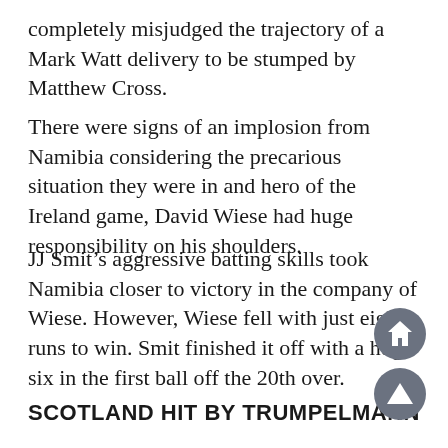completely misjudged the trajectory of a Mark Watt delivery to be stumped by Matthew Cross.
There were signs of an implosion from Namibia considering the precarious situation they were in and hero of the Ireland game, David Wiese had huge responsibility on his shoulders.
JJ Smit’s aggressive batting skills took Namibia closer to victory in the company of Wiese. However, Wiese fell with just eight runs to win. Smit finished it off with a huge six in the first ball off the 20th over.
SCOTLAND HIT BY TRUMPELMANN